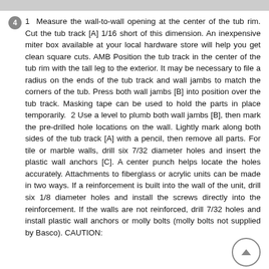4  1  Measure the wall-to-wall opening at the center of the tub rim. Cut the tub track [A] 1/16 short of this dimension. An inexpensive miter box available at your local hardware store will help you get clean square cuts. AMB Position the tub track in the center of the tub rim with the tall leg to the exterior. It may be necessary to file a radius on the ends of the tub track and wall jambs to match the corners of the tub. Press both wall jambs [B] into position over the tub track. Masking tape can be used to hold the parts in place temporarily. 2 Use a level to plumb both wall jambs [B], then mark the pre-drilled hole locations on the wall. Lightly mark along both sides of the tub track [A] with a pencil, then remove all parts. For tile or marble walls, drill six 7/32 diameter holes and insert the plastic wall anchors [C]. A center punch helps locate the holes accurately. Attachments to fiberglass or acrylic units can be made in two ways. If a reinforcement is built into the wall of the unit, drill six 1/8 diameter holes and install the screws directly into the reinforcement. If the walls are not reinforced, drill 7/32 holes and install plastic wall anchors or molly bolts (molly bolts not supplied by Basco). CAUTION: